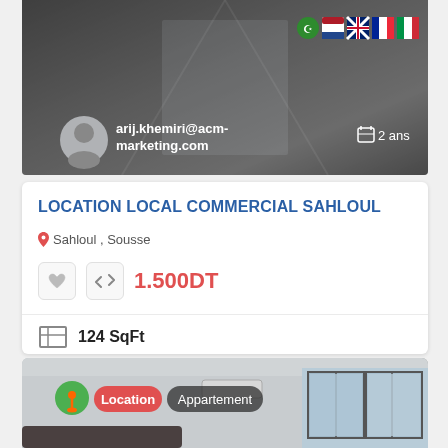[Figure (photo): Dark corridor/hallway photo used as listing header with user avatar and email overlay]
arij.khemiri@acm-marketing.com
2 ans
LOCATION LOCAL COMMERCIAL SAHLOUL
Sahloul , Sousse
1.500DT
124 SqFt
[Figure (photo): Interior apartment room photo showing white walls, ceiling lights, air conditioning unit, and large window with outdoor view]